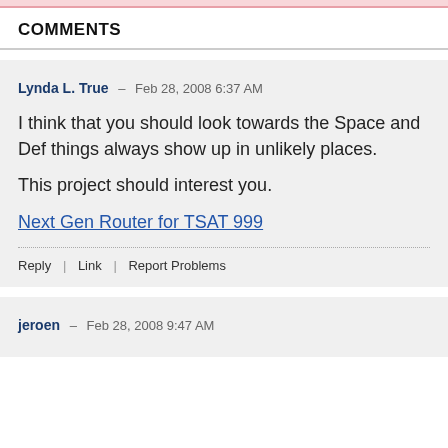COMMENTS
Lynda L. True – Feb 28, 2008 6:37 AM
I think that you should look towards the Space and Def things always show up in unlikely places.

This project should interest you.
Next Gen Router for TSAT 999
Reply | Link | Report Problems
jeroen – Feb 28, 2008 9:47 AM